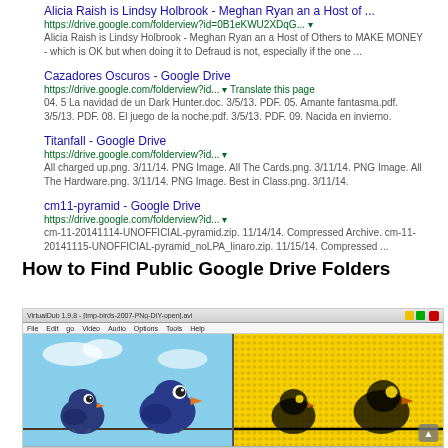Alicia Raish is Lindsy Holbrook - Meghan Ryan an a Host of ...
https://drive.google.com/folderview?id=0B1eKWU2XDqG... ▾
Alicia Raish is Lindsy Holbrook - Meghan Ryan an a Host of Others to MAKE MONEY - which is OK but when doing it to Defraud is not, especially if the one ...
Cazadores Oscuros - Google Drive
https://drive.google.com/folderview?id... ▾ Translate this page
04. 5 La navidad de un Dark Hunter.doc. 3/5/13. PDF. 05. Amante fantasma.pdf. 3/5/13. PDF. 08. El juego de la noche.pdf. 3/5/13. PDF. 09. Nacida en invierno.
Titanfall - Google Drive
https://drive.google.com/folderview?id... ▾
All charged up.png. 3/11/14. PNG Image. All The Cards.png. 3/11/14. PNG Image. All The Hardware.png. 3/11/14. PNG Image. Best in Class.png. 3/11/14.
cm11-pyramid - Google Drive
https://drive.google.com/folderview?id... ▾
cm-11-20141114-UNOFFICIAL-pyramid.zip. 11/14/14. Compressed Archive. cm-11-20141115-UNOFFICIAL-pyramid_noLPA_linaro.zip. 11/15/14. Compressed ...
How to Find Public Google Drive Folders
[Figure (screenshot): Screenshot of a video editing or image processing application (VirtualDub or similar) showing two cartoon blue birds sitting on a wire on the left panel with a blue sky background, and the right panel shows the same birds processed with a halftone/dithering effect on a yellow background.]